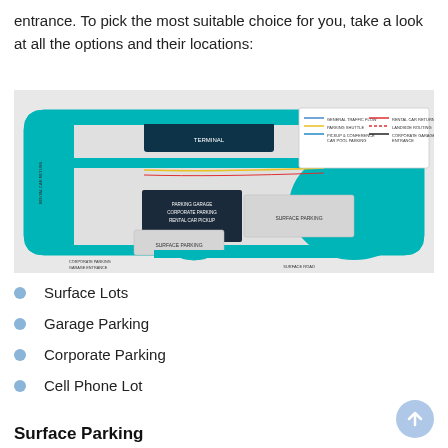entrance. To pick the most suitable choice for you, take a look at all the options and their locations:
[Figure (map): Airport parking map showing terminal, permit lot, surface parking areas, parking garage with corporate parking and rental car pickup, cell phone lot, and corporate parking garage entrance. Color-coded roads and legend included.]
Surface Lots
Garage Parking
Corporate Parking
Cell Phone Lot
Surface Parking